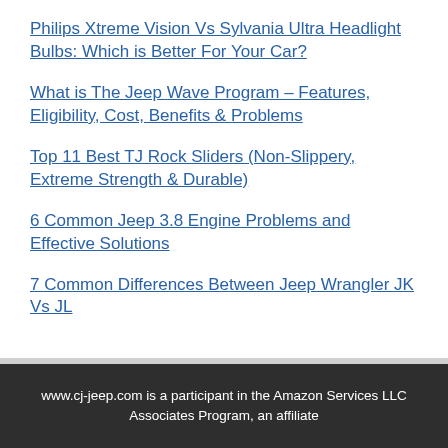Philips Xtreme Vision Vs Sylvania Ultra Headlight Bulbs: Which is Better For Your Car?
What is The Jeep Wave Program – Features, Eligibility, Cost, Benefits & Problems
Top 11 Best TJ Rock Sliders (Non-Slippery, Extreme Strength & Durable)
6 Common Jeep 3.8 Engine Problems and Effective Solutions
7 Common Differences Between Jeep Wrangler JK Vs JL
www.cj-jeep.com is a participant in the Amazon Services LLC Associates Program, an affiliate